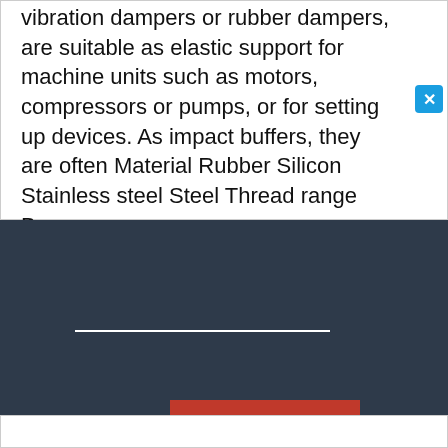vibration dampers or rubber dampers, are suitable as elastic support for machine units such as motors, compressors or pumps, or for setting up devices. As impact buffers, they are often Material Rubber Silicon Stainless steel Steel Thread range Bore
[Figure (screenshot): Dark navy background section with a white horizontal divider line and a red 'Venta' badge/button in the lower right area]